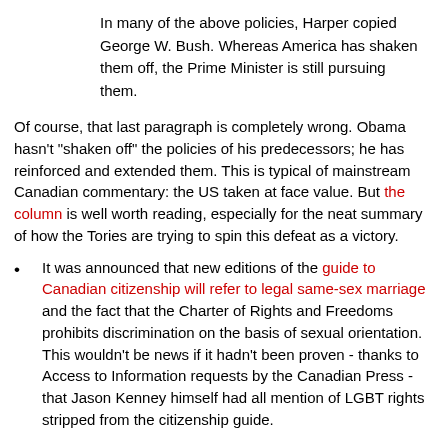In many of the above policies, Harper copied George W. Bush. Whereas America has shaken them off, the Prime Minister is still pursuing them.
Of course, that last paragraph is completely wrong. Obama hasn't "shaken off" the policies of his predecessors; he has reinforced and extended them. This is typical of mainstream Canadian commentary: the US taken at face value. But the column is well worth reading, especially for the neat summary of how the Tories are trying to spin this defeat as a victory.
It was announced that new editions of the guide to Canadian citizenship will refer to legal same-sex marriage and the fact that the Charter of Rights and Freedoms prohibits discrimination on the basis of sexual orientation. This wouldn't be news if it hadn't been proven - thanks to Access to Information requests by the Canadian Press - that Jason Kenney himself had all mention of LGBT rights stripped from the citizenship guide.